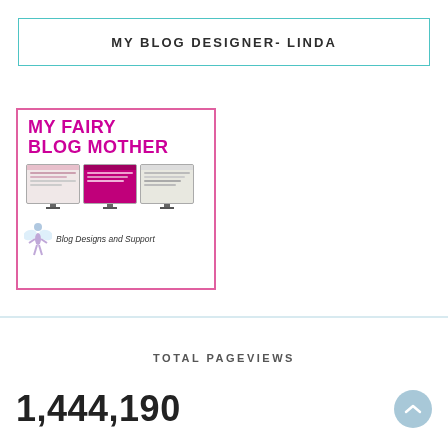MY BLOG DESIGNER- LINDA
[Figure (logo): My Fairy Blog Mother banner with pink text showing 'MY FAIRY BLOG MOTHER', three monitor screens displaying blog designs, a fairy illustration, and the text 'Blog Designs and Support']
TOTAL PAGEVIEWS
1,444,190